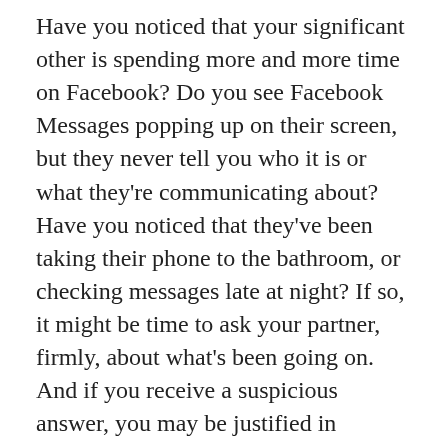Have you noticed that your significant other is spending more and more time on Facebook? Do you see Facebook Messages popping up on their screen, but they never tell you who it is or what they're communicating about? Have you noticed that they've been taking their phone to the bathroom, or checking messages late at night? If so, it might be time to ask your partner, firmly, about what's been going on. And if you receive a suspicious answer, you may be justified in researching how to expose cheaters on Facebook.
[Figure (illustration): Broken image placeholder icon for 'How to know if someone is online on facebook messenger']
How to know if someone is online on facebook messenger
Caught cheating on Facebook Messenger?